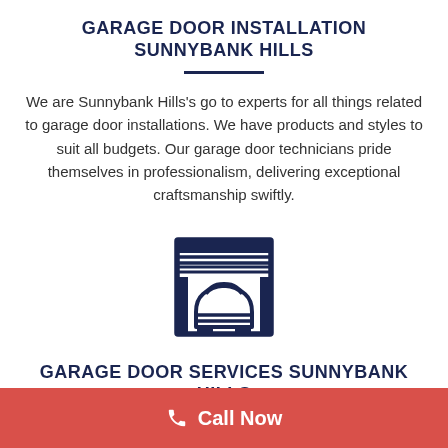GARAGE DOOR INSTALLATION SUNNYBANK HILLS
We are Sunnybank Hills's go to experts for all things related to garage door installations. We have products and styles to suit all budgets. Our garage door technicians pride themselves in professionalism, delivering exceptional craftsmanship swiftly.
[Figure (illustration): Icon of a garage door with a car inside, rendered in dark navy blue line art style]
GARAGE DOOR SERVICES SUNNYBANK HILLS
Call Now